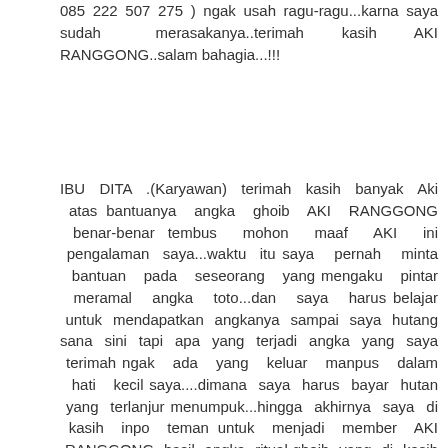085 222 507 275 ) ngak usah ragu-ragu...karna saya sudah merasakanya..terimah kasih AKI RANGGONG..salam bahagia...!!!
IBU DITA .(Karyawan) terimah kasih banyak Aki atas bantuanya angka ghoib AKI RANGGONG benar-benar tembus mohon maaf AKI ini pengalaman saya...waktu itu saya pernah minta bantuan pada seseorang yang mengaku pintar meramal angka toto...dan saya harus belajar untuk mendapatkan angkanya sampai saya hutang sana sini tapi apa yang terjadi angka yang saya terimah ngak ada yang keluar manpus dalam hati kecil saya....dimana saya harus bayar hutan yang terlanjur menumpuk...hingga akhirnya saya di kasih inpo teman untuk menjadi member AKI RANGGONG hasil angka ritual ghoib yang di kasih AKI kirim ternyata jitu...akhirnya